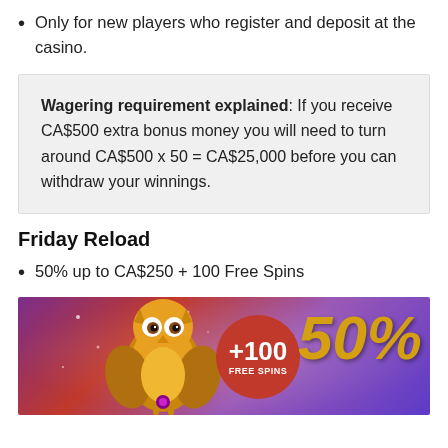Only for new players who register and deposit at the casino.
Wagering requirement explained: If you receive CA$500 extra bonus money you will need to turn around CA$500 x 50 = CA$25,000 before you can withdraw your winnings.
Friday Reload
50% up to CA$250 + 100 Free Spins
[Figure (photo): Promotional casino banner showing a golden owl, a red circle badge with '+100 FREE SPINS', and large gold italic '50%' text on a purple/red gradient background.]